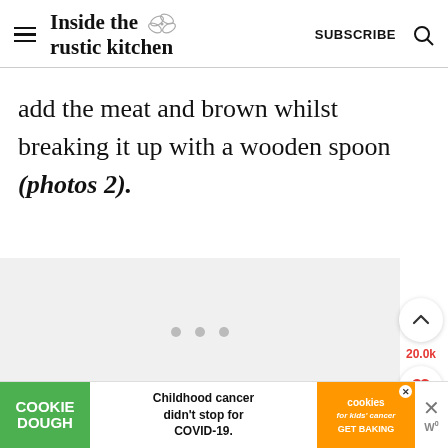Inside the rustic kitchen — SUBSCRIBE
add the meat and brown whilst breaking it up with a wooden spoon (photos 2).
[Figure (screenshot): Light gray placeholder image area with three small gray dots indicating loading content]
[Figure (infographic): Floating UI buttons on right side: up-arrow circle button, 20.0k count in red, heart circle button, red search circle button]
[Figure (infographic): Bottom advertisement bar: green COOKIE DOUGH block, middle text 'Childhood cancer didn't stop for COVID-19.', orange cookies for kids cancer GET BAKING block with X close, and right side close X and W logo]